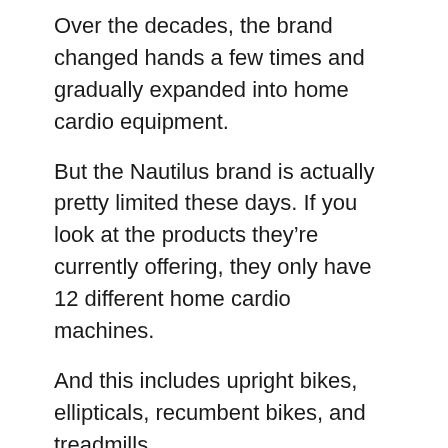Over the decades, the brand changed hands a few times and gradually expanded into home cardio equipment.
But the Nautilus brand is actually pretty limited these days. If you look at the products they’re currently offering, they only have 12 different home cardio machines.
And this includes upright bikes, ellipticals, recumbent bikes, and treadmills.
All of the equipment is numerically named, with the higher numbers indicating more impressive specs and more advanced features.
That said, all of their equipment is pretty budget friendly. Their highest-end treadmill, the T618, will only cost you about $1200.